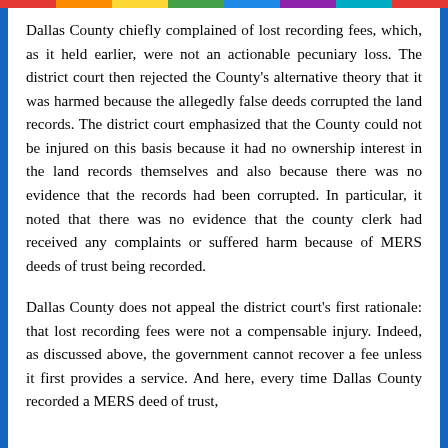Dallas County chiefly complained of lost recording fees, which, as it held earlier, were not an actionable pecuniary loss. The district court then rejected the County's alternative theory that it was harmed because the allegedly false deeds corrupted the land records. The district court emphasized that the County could not be injured on this basis because it had no ownership interest in the land records themselves and also because there was no evidence that the records had been corrupted. In particular, it noted that there was no evidence that the county clerk had received any complaints or suffered harm because of MERS deeds of trust being recorded.
Dallas County does not appeal the district court's first rationale: that lost recording fees were not a compensable injury. Indeed, as discussed above, the government cannot recover a fee unless it first provides a service. And here, every time Dallas County recorded a MERS deed of trust,